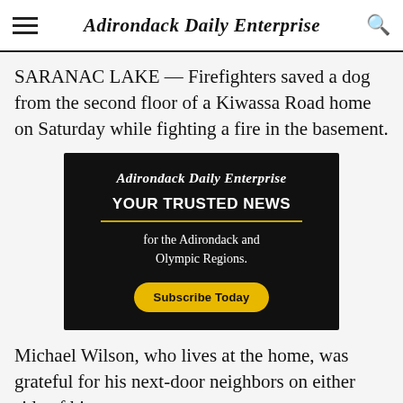Adirondack Daily Enterprise
SARANAC LAKE — Firefighters saved a dog from the second floor of a Kiwassa Road home on Saturday while fighting a fire in the basement.
[Figure (other): Advertisement for Adirondack Daily Enterprise: black background with masthead logo, text 'YOUR TRUSTED NEWS for the Adirondack and Olympic Regions.' with a yellow Subscribe Today button.]
Michael Wilson, who lives at the home, was grateful for his next-door neighbors on either side of his